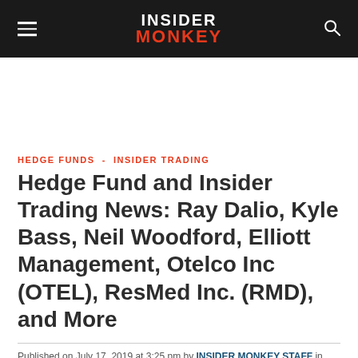INSIDER MONKEY
HEDGE FUNDS - INSIDER TRADING
Hedge Fund and Insider Trading News: Ray Dalio, Kyle Bass, Neil Woodford, Elliott Management, Otelco Inc (OTEL), ResMed Inc. (RMD), and More
Published on July 17, 2019 at 3:25 pm by INSIDER MONKEY STAFF in